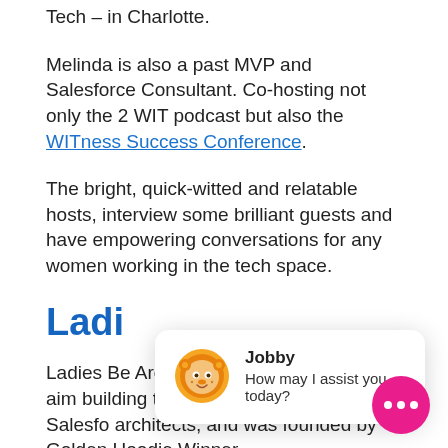Tech – in Charlotte.
Melinda is also a past MVP and Salesforce Consultant. Co-hosting not only the 2 WIT podcast but also the WITness Success Conference.
The bright, quick-witted and relatable hosts, interview some brilliant guests and have empowering conversations for any women working in the tech space.
Ladi
[Figure (other): Chat widget showing a lion avatar labeled 'Jobby' with message 'How may I assist you today?']
Ladies Be Architects is a platform with the aim building the confidence of all aspiring Salesfo architects, and was founded by Golden Hoodie Winner, Gemma Blezard. The podcast is also co-hosted by 17x
[Figure (other): Pink circular chat button with three white dots]